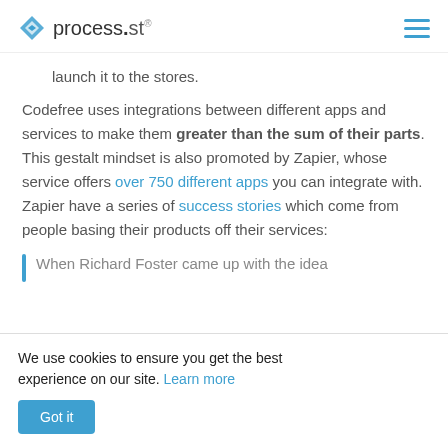process.st
launch it to the stores.
Codefree uses integrations between different apps and services to make them greater than the sum of their parts. This gestalt mindset is also promoted by Zapier, whose service offers over 750 different apps you can integrate with. Zapier have a series of success stories which come from people basing their products off their services:
When Richard Foster came up with the idea
We use cookies to ensure you get the best experience on our site. Learn more